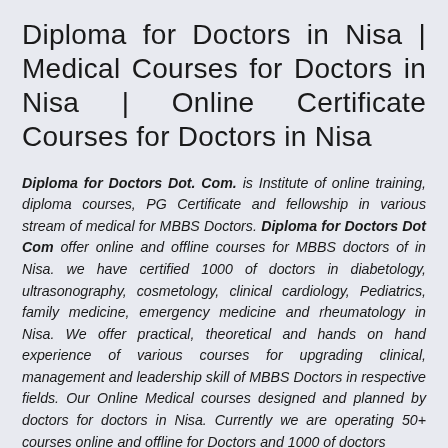Diploma for Doctors in Nisa | Medical Courses for Doctors in Nisa | Online Certificate Courses for Doctors in Nisa
Diploma for Doctors Dot. Com. is Institute of online training, diploma courses, PG Certificate and fellowship in various stream of medical for MBBS Doctors. Diploma for Doctors Dot Com offer online and offline courses for MBBS doctors of in Nisa. we have certified 1000 of doctors in diabetology, ultrasonography, cosmetology, clinical cardiology, Pediatrics, family medicine, emergency medicine and rheumatology in Nisa. We offer practical, theoretical and hands on hand experience of various courses for upgrading clinical, management and leadership skill of MBBS Doctors in respective fields. Our Online Medical courses designed and planned by doctors for doctors in Nisa. Currently we are operating 50+ courses online and offline for Doctors and 1000 of doctors